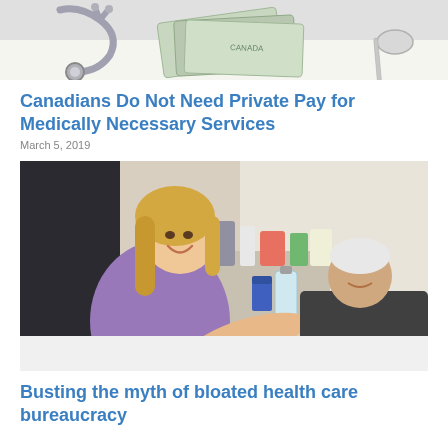[Figure (photo): Top portion of a photo showing a stethoscope and Canadian currency bills on a white surface]
Canadians Do Not Need Private Pay for Medically Necessary Services
March 5, 2019
[Figure (photo): A smiling female nurse or caregiver in purple scrubs attending to an elderly patient who is lying in a hospital-style bed. Various supplies and containers are visible in the background.]
Busting the myth of bloated health care bureaucracy